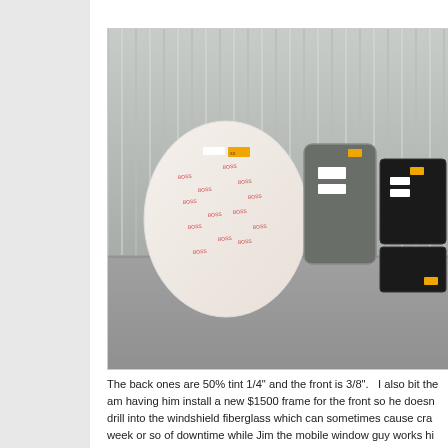[Figure (photo): Three wrapped/packaged automotive or aircraft windows leaning against a corrugated metal wall. The leftmost is large and wrapped in white protective film with red printed text, the middle is wrapped in clear plastic showing a dark tinted window, and the rightmost is a smaller black-framed piece. They are resting on a concrete floor.]
The back ones are 50% tint 1/4" and the front is 3/8".   I also bit the am having him install a new $1500 frame for the front so he doesn drill into the windshield fiberglass which can sometimes cause cra week or so of downtime while Jim the mobile window guy works hi my plane!